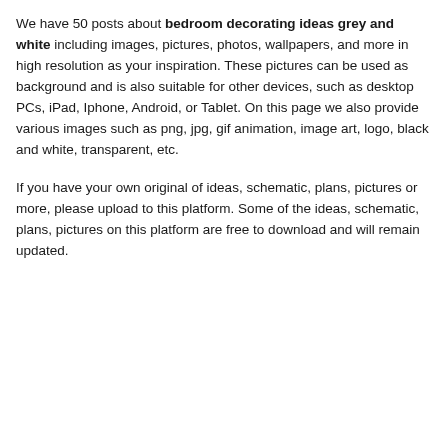We have 50 posts about bedroom decorating ideas grey and white including images, pictures, photos, wallpapers, and more in high resolution as your inspiration. These pictures can be used as background and is also suitable for other devices, such as desktop PCs, iPad, Iphone, Android, or Tablet. On this page we also provide various images such as png, jpg, gif animation, image art, logo, black and white, transparent, etc.
If you have your own original of ideas, schematic, plans, pictures or more, please upload to this platform. Some of the ideas, schematic, plans, pictures on this platform are free to download and will remain updated.